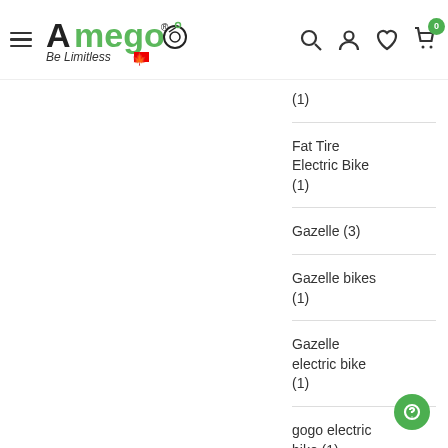[Figure (logo): Amego electric bikes logo with 'Be Limitless' tagline and Canadian flag]
(1)
Fat Tire Electric Bike (1)
Gazelle (3)
Gazelle bikes (1)
Gazelle electric bike (1)
gogo electric bike (1)